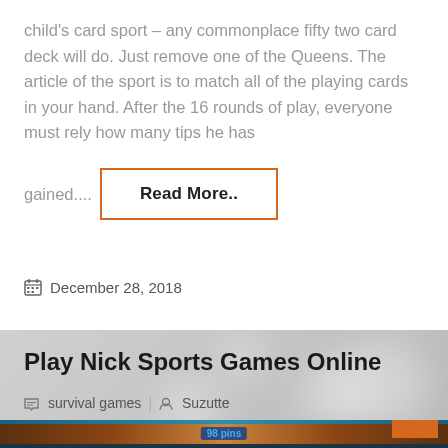child's card sport – any commonplace fifty two card deck will do. Just remove one of the Queens. The article of the sport is to match all of the playing cards in your hand. After the 16 rounds of play, everyone must rely how many tips he has gained....
Read More..
December 28, 2018
Play Nick Sports Games Online
survival games | Suzutte
[Figure (screenshot): Screenshot of a bowling game showing a lane with pins and text '98 pins']